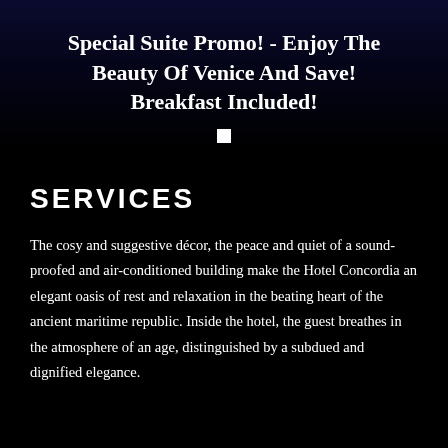Special Suite Promo! - Enjoy The Beauty Of Venice And Save! Breakfast Included!
SERVICES
The cosy and suggestive décor, the peace and quiet of a sound-proofed and air-conditioned building make the Hotel Concordia an elegant oasis of rest and relaxation in the beating heart of the ancient maritime republic. Inside the hotel, the guest breathes in the atmosphere of an age, distinguished by a subdued and dignified elegance.